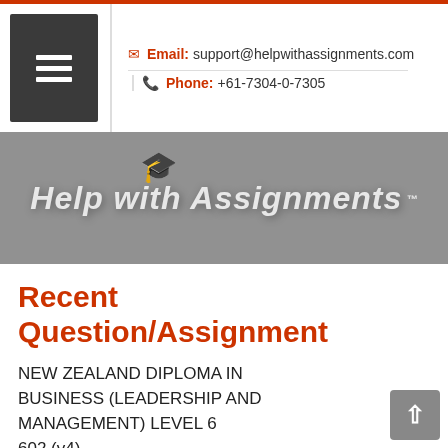Email: support@helpwithassignments.com | Phone: +61-7304-0-7305
[Figure (logo): Help with Assignments logo with mortarboard hat on grey banner background]
Recent Question/Assignment
NEW ZEALAND DIPLOMA IN BUSINESS (LEADERSHIP AND MANAGEMENT) LEVEL 6
602 (v4)
LEAD & MANAGE ORGANISATIONAL